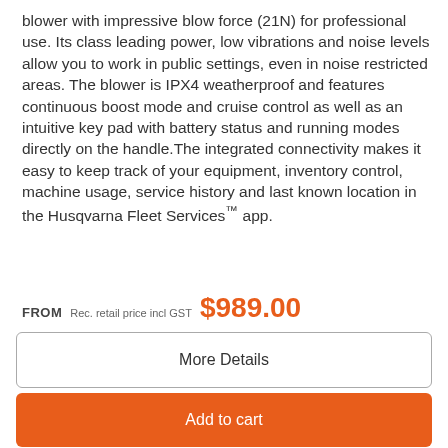blower with impressive blow force (21N) for professional use. Its class leading power, low vibrations and noise levels allow you to work in public settings, even in noise restricted areas. The blower is IPX4 weatherproof and features continuous boost mode and cruise control as well as an intuitive key pad with battery status and running modes directly on the handle.The integrated connectivity makes it easy to keep track of your equipment, inventory control, machine usage, service history and last known location in the Husqvarna Fleet Services™ app.
FROM   Rec. retail price incl GST   $989.00
More Details
Add to cart